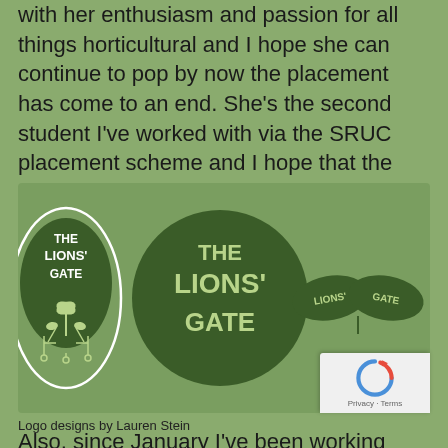with her enthusiasm and passion for all things horticultural and I hope she can continue to pop by now the placement has come to an end. She's the second student I've worked with via the SRUC placement scheme and I hope that the relationship with them continues into the future.
[Figure (logo): Three logo design variations for 'The Lions' Gate' on a green background. Left: oval/pill shaped logo with 'THE LIONS' GATE' text and plant/sprout icon. Centre: circular logo with 'THE LIONS' GATE' in bold wavy text. Right: two leaf shapes with 'LIONS' GATE' text.]
Logo designs by Lauren Stein
Also, since January I've been working with seven